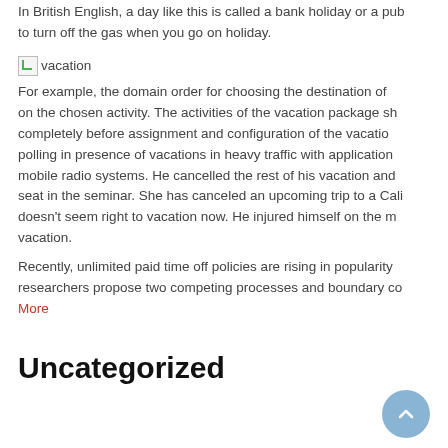In British English, a day like this is called a bank holiday or a pub... to turn off the gas when you go on holiday.
[Figure (photo): Broken image placeholder with label 'vacation']
For example, the domain order for choosing the destination of... on the chosen activity. The activities of the vacation package sh... completely before assignment and configuration of the vacatio... polling in presence of vacations in heavy traffic with application... mobile radio systems. He cancelled the rest of his vacation and... seat in the seminar. She has canceled an upcoming trip to a Cali... doesn't seem right to vacation now. He injured himself on the m... vacation.
Recently, unlimited paid time off policies are rising in popularity... researchers propose two competing processes and boundary co...
More
Uncategorized